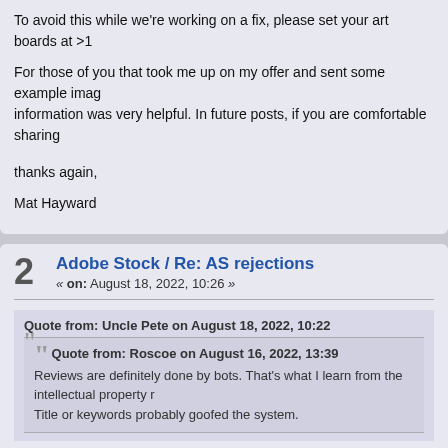To avoid this while we're working on a fix, please set your art boards at >1
For those of you that took me up on my offer and sent some example images, information was very helpful. In future posts, if you are comfortable sharing
thanks again,
Mat Hayward
2  Adobe Stock / Re: AS rejections
« on: August 18, 2022, 10:26 »
Quote from: Uncle Pete on August 18, 2022, 10:22
Quote from: Roscoe on August 16, 2022, 13:39
Reviews are definitely done by bots. That's what I learn from the intellectual property r... Title or keywords probably goofed the system.
While the answer might be the keywords were the reason for the rejection, it's still interes... Maybe you could send the image and everything to Mat and get a real answer, WHY?
I can understand pre-qualifying images, using computers, before review, and in the past b... reviewed, I wonder if Mat can confirm this?